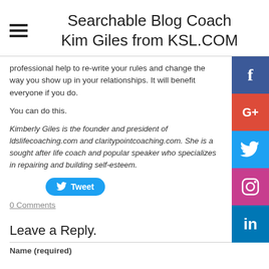Searchable Blog Coach Kim Giles from KSL.COM
professional help to re-write your rules and change the way you show up in your relationships. It will benefit everyone if you do.

You can do this.
Kimberly Giles is the founder and president of ldslifecoaching.com and claritypointcoaching.com. She is a sought after life coach and popular speaker who specializes in repairing and building self-esteem.
Tweet
0 Comments
[Figure (infographic): Social media sharing buttons: Facebook (blue), Google+ (red), Twitter (light blue), Instagram (pink/magenta), LinkedIn (dark blue)]
Leave a Reply.
Name (required)